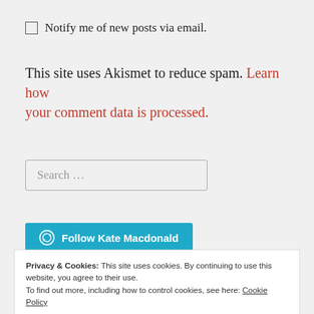Notify me of new posts via email.
This site uses Akismet to reduce spam. Learn how your comment data is processed.
Search ...
Follow Kate Macdonald
Privacy & Cookies: This site uses cookies. By continuing to use this website, you agree to their use. To find out more, including how to control cookies, see here: Cookie Policy
Close and accept